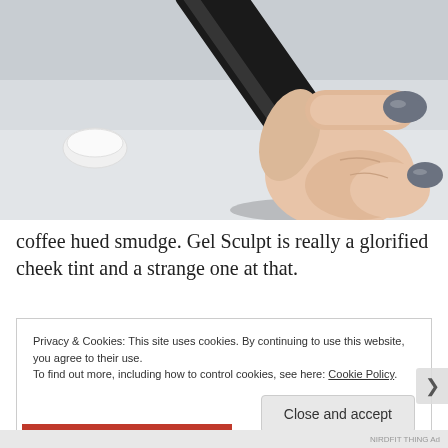[Figure (photo): Close-up photo of a hand holding a black cylindrical cosmetic product (Gel Sculpt), with dark grey painted fingernails visible. A small white lid rests on a light grey surface in the background.]
coffee hued smudge. Gel Sculpt is really a glorified cheek tint and a strange one at that.
Privacy & Cookies: This site uses cookies. By continuing to use this website, you agree to their use.
To find out more, including how to control cookies, see here: Cookie Policy
Close and accept